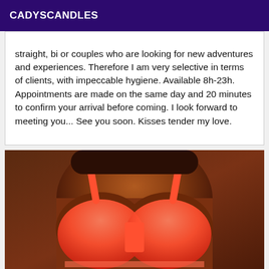CADYSCANDLES
straight, bi or couples who are looking for new adventures and experiences. Therefore I am very selective in terms of clients, with impeccable hygiene. Available 8h-23h. Appointments are made on the same day and 20 minutes to confirm your arrival before coming. I look forward to meeting you... See you soon. Kisses tender my love.
[Figure (photo): Photo of a person wearing a red/orange bra, cropped view of torso]